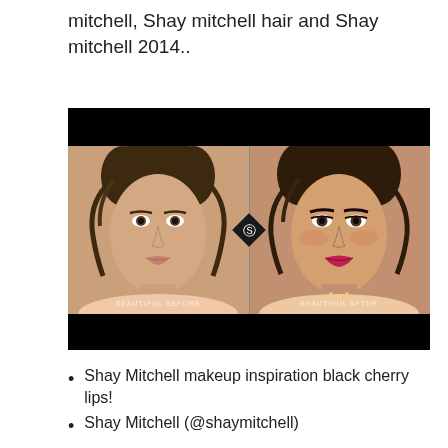mitchell, Shay mitchell hair and Shay mitchell 2014..
[Figure (photo): Before and after makeup comparison photo showing a woman without makeup on the left labeled 'BEAUTIFUL BEFORE' and with full makeup on the right labeled 'BEAUTIFUL AFTER', divided by a vertical line with a Charlotte Tilbury diamond logo in the center. Black bars at top and bottom.]
Shay Mitchell makeup inspiration black cherry lips!
Shay Mitchell (@shaymitchell)